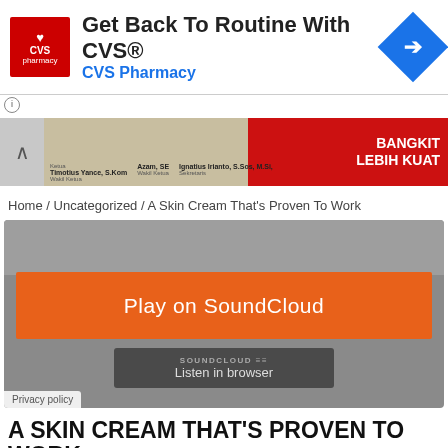[Figure (screenshot): CVS Pharmacy advertisement banner with logo, tagline 'Get Back To Routine With CVS®', and navigation arrow icon]
[Figure (screenshot): Secondary banner showing names 'Timotius Yance, S.Kom', 'Azam, SE', 'Ignatius Irianto, S.Sos, M.Si' with red section and 'BANGKIT LEBIH KUAT' text]
Home / Uncategorized / A Skin Cream That's Proven To Work
[Figure (screenshot): SoundCloud embedded player with orange 'Play on SoundCloud' button and 'Listen in browser' option on grey background. Privacy policy link at bottom.]
A SKIN CREAM THAT'S PROVEN TO WORK
Kalimantan Today   24 Agustus 2014   Uncategorized   884 Lihat